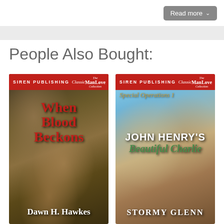Read more
People Also Bought:
[Figure (illustration): Book cover: 'When Blood Beckons' by Dawn H. Hawkes, Siren Publishing Classic ManLove Collection. Features two male figures on a rocky background. Red title text, white author name at bottom.]
[Figure (illustration): Book cover: 'John Henry's Beautiful Charlie' by Stormy Glenn, Siren Publishing Classic ManLove Collection, Special Operations series. Features two male figures with a white mansion in background. White and green title text, white author name at bottom.]